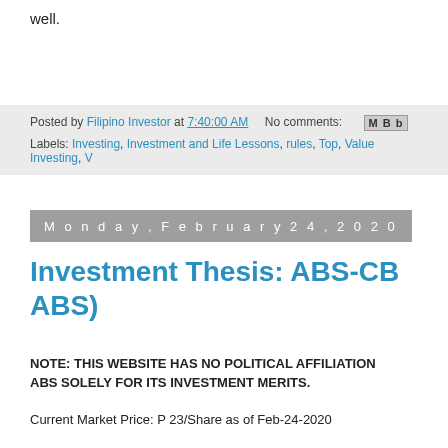well.
Read more »
Posted by Filipino Investor at 7:40:00 AM    No comments:   M B b
Labels: Investing, Investment and Life Lessons, rules, Top, Value Investing, V
Monday, February 24, 2020
Investment Thesis: ABS-CB... ABS)
NOTE: THIS WEBSITE HAS NO POLITICAL AFFILIATION... ABS SOLELY FOR ITS INVESTMENT MERITS.
Current Market Price: P 23/Share as of Feb-24-2020